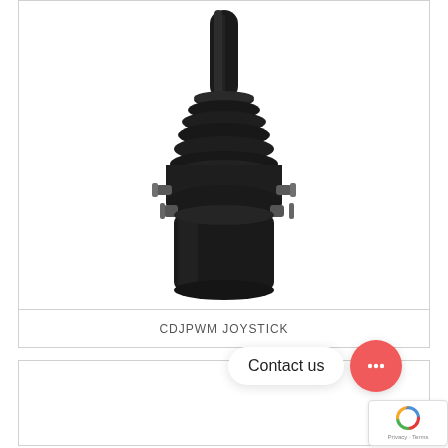[Figure (photo): Black industrial joystick controller (CDJPWM Joystick) shown on white background. Features a tall black handle, rubber boot at the base of the shaft, multi-ridged spherical housing, and a cylindrical base with mounting bolts and connectors.]
CDJPWM JOYSTICK
[Figure (photo): Partial product card area below, content not visible in crop.]